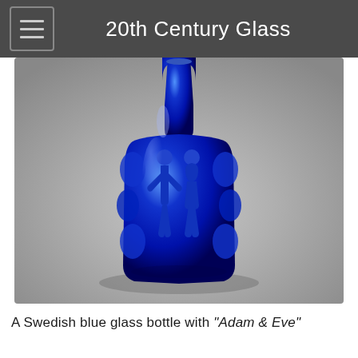20th Century Glass
[Figure (photo): A cobalt blue glass bottle with embossed Adam and Eve figures on the front, photographed against a grey gradient background. The bottle has a narrow neck and a wide cylindrical body with decorative relief figures.]
A Swedish blue glass bottle with "Adam & Eve"